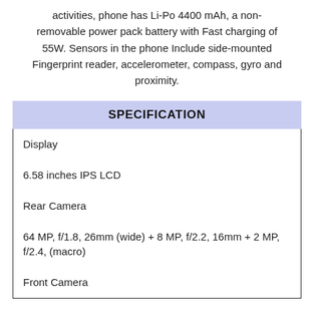activities, phone has Li-Po 4400 mAh, a non-removable power pack battery with Fast charging of 55W. Sensors in the phone Include side-mounted Fingerprint reader, accelerometer, compass, gyro and proximity.
SPECIFICATION
| Display |
| 6.58 inches IPS LCD |
| Rear Camera |
| 64 MP, f/1.8, 26mm (wide) + 8 MP, f/2.2, 16mm + 2 MP, f/2.4, (macro) |
| Front Camera |